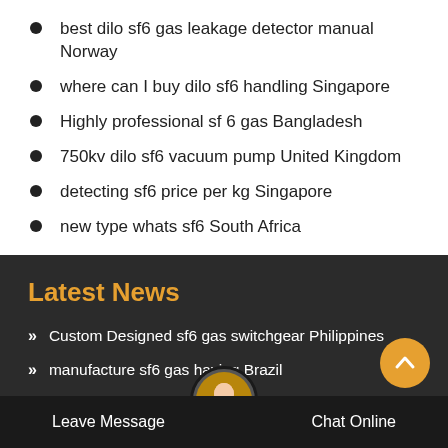best dilo sf6 gas leakage detector manual Norway
where can I buy dilo sf6 handling Singapore
Highly professional sf 6 gas Bangladesh
750kv dilo sf6 vacuum pump United Kingdom
detecting sf6 price per kg Singapore
new type whats sf6 South Africa
Latest News
Custom Designed sf6 gas switchgear Philippines
manufacture sf6 gas having Brazil
detecting 132 kv sf6 circuit breaker Canada
750kv dilo gas can Vietnam
Leave Message  Chat Online